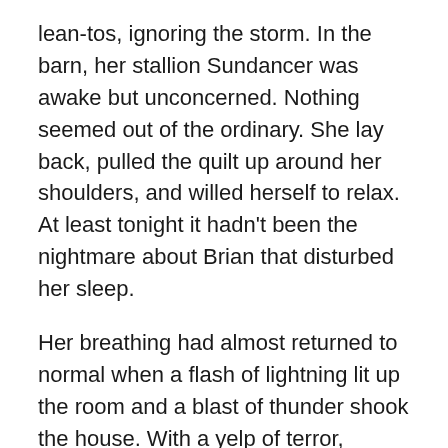lean-tos, ignoring the storm. In the barn, her stallion Sundancer was awake but unconcerned. Nothing seemed out of the ordinary. She lay back, pulled the quilt up around her shoulders, and willed herself to relax. At least tonight it hadn't been the nightmare about Brian that disturbed her sleep.
Her breathing had almost returned to normal when a flash of lightning lit up the room and a blast of thunder shook the house. With a yelp of terror, Goliath leaped on the bed and clawed at the blankets, trying to burrow under her arm. Kasey cuddled him close and let him stay. She knew how much he hated loud noises, particularly thunder and gunshots.
Eventually her pulse calmed and she drifted off. But images of fire and pain wracked her dreams, disturbing